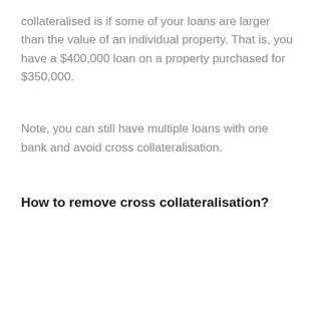collateralised is if some of your loans are larger than the value of an individual property. That is, you have a $400,000 loan on a property purchased for $350,000.
Note, you can still have multiple loans with one bank and avoid cross collateralisation.
How to remove cross collateralisation?